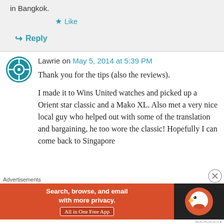in Bangkok.
★ Like
↪ Reply
Lawrie on May 5, 2014 at 5:39 PM
Thank you for the tips (also the reviews).
I made it to Wins United watches and picked up a Orient star classic and a Mako XL. Also met a very nice local guy who helped out with some of the translation and bargaining, he too wore the classic! Hopefully I can come back to Singapore
Advertisements
[Figure (infographic): DuckDuckGo advertisement banner: 'Search, browse, and email with more privacy. All in One Free App' with DuckDuckGo logo on dark background]